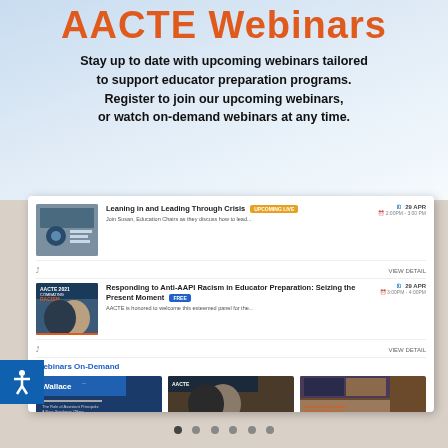AACTE Webinars
Stay up to date with upcoming webinars tailored to support educator preparation programs. Register to join our upcoming webinars, or watch on-demand webinars at any time.
[Figure (screenshot): Screenshot of AACTE webinars webpage showing two upcoming webinar listings ('Leaning in and Leading Through Crisis' and 'Responding to Anti-AAPI Racism in Educator Preparation: Seizing the Present Moment', both on 29 APR) and a 'Webinars On-Demand' section with three thumbnails for 'The Role of Assistant Principals: Evidence and Insights for Advancing School', 'Combating Racism: Critical Consciousness in Educator Preparation', and 'New Early Childhood Education Avatars and Classrooms'.]